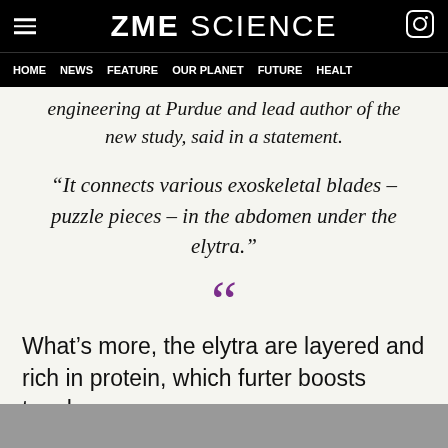ZME SCIENCE — HOME NEWS FEATURE OUR PLANET FUTURE HEALT
engineering at Purdue and lead author of the new study, said in a statement.
“It connects various exoskeletal blades – puzzle pieces – in the abdomen under the elytra.”
[Figure (illustration): Large purple opening quotation marks decorative element]
What’s more, the elytra are layered and rich in protein, which furter boosts toughness.
[Figure (photo): Bottom portion of page showing partial image, cropped off]